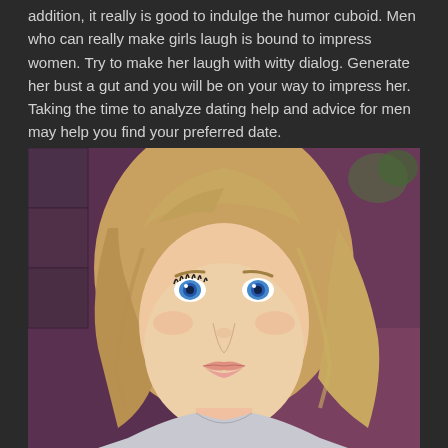addition, it really is good to indulge the humor cuboid. Men who can really make girls laugh is bound to impress women. Try to make her laugh with witty dialog. Generate her bust a gut and you will be on your way to impress her. Taking the time to analyze dating help and advice for men may help you find your preferred date.
[Figure (photo): A young blonde woman with blue eyes looking directly at the camera, with shoulder-length wavy hair, wearing a light-colored top. The background is purple/mauve toned.]